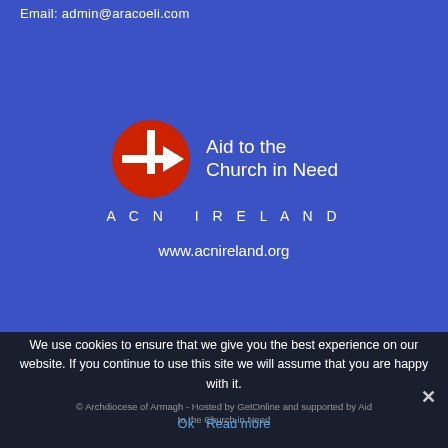Email: admin@aracoeli.com
[Figure (logo): ACN Ireland logo: red circle with cross and arrow symbol, white text 'Aid to the Church in Need' beside it, and 'ACN IRELAND' below in spaced white capitals]
www.acnireland.org
We use cookies to ensure that we give you the best experience on our website. If you continue to use this site we will assume that you are happy with it.
© Archdiocese of Armagh - Hosted by GetOnline and supported by Aid to the Church in Need
Ok   Read more